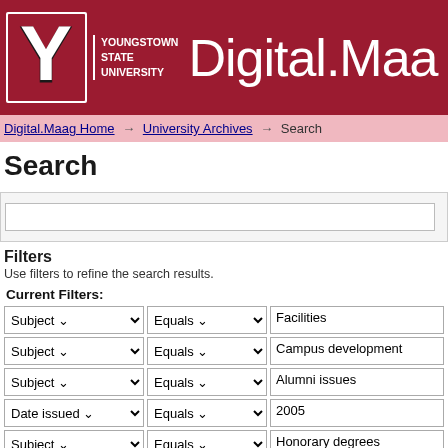[Figure (logo): Youngstown State University logo with Y letter mark and Digital.Maag text on dark red header background]
Digital.Maag Home → University Archives → Search
Search
Filters
Use filters to refine the search results.
Current Filters:
| Field | Operator | Value |
| --- | --- | --- |
| Subject | Equals | Facilities |
| Subject | Equals | Campus development |
| Subject | Equals | Alumni issues |
| Date issued | Equals | 2005 |
| Subject | Equals | Honorary degrees |
| Has File(s) | Equals | true |